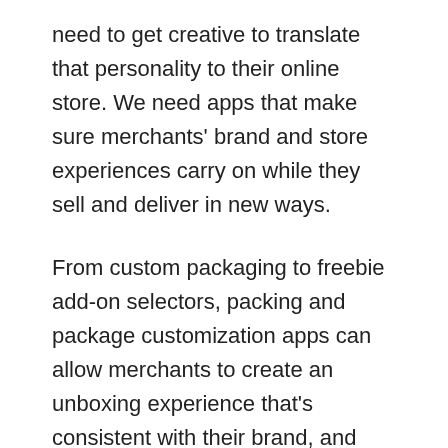need to get creative to translate that personality to their online store. We need apps that make sure merchants' brand and store experiences carry on while they sell and deliver in new ways.
From custom packaging to freebie add-on selectors, packing and package customization apps can allow merchants to create an unboxing experience that's consistent with their brand, and that will delight buyers as they unwrap their new purchases at home. Bonus points if the experience is so good that they can't help but share with their social networks.